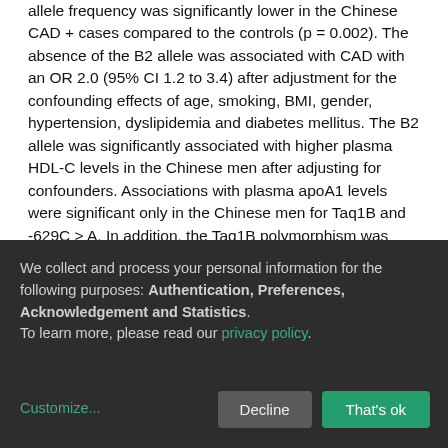allele frequency was significantly lower in the Chinese CAD + cases compared to the controls (p = 0.002). The absence of the B2 allele was associated with CAD with an OR 2.0 (95% CI 1.2 to 3.4) after adjustment for the confounding effects of age, smoking, BMI, gender, hypertension, dyslipidemia and diabetes mellitus. The B2 allele was significantly associated with higher plasma HDL-C levels in the Chinese men after adjusting for confounders. Associations with plasma apoA1 levels were significant only in the Chinese men for Taq1B and -629C > A. In addition, the Taq1B polymorphism was only associated with plasma Apo B and Lp(a) in the Malay men. Significant associations were only found in non-smoking subjects with BMI <50th percentile. In this study, the LD coefficients between the
We collect and process your personal information for the following purposes: Authentication, Preferences, Acknowledgement and Statistics. To learn more, please read our privacy policy.